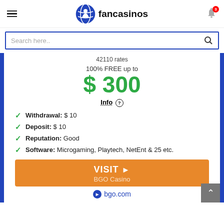[Figure (logo): Fancasinos website header with hamburger menu, blue globe logo, 'fancasinos' brand name, and notification bell with badge showing 3]
Search here..
42110 rates
100% FREE up to
$ 300
Info
Withdrawal: $ 10
Deposit: $ 10
Reputation: Good
Software: Microgaming, Playtech, NetEnt & 25 etc.
VISIT BGO Casino
bgo.com